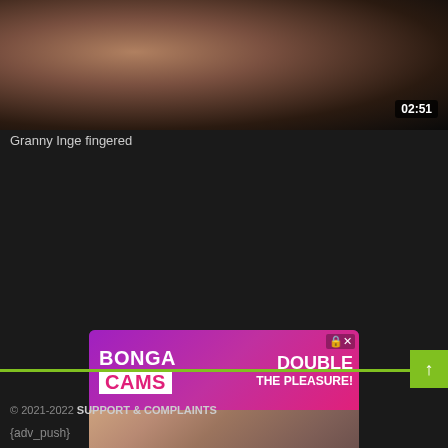[Figure (photo): Top portion of a video thumbnail showing a close-up body image with a timer badge showing 02:51 in the bottom right corner]
Granny Inge fingered
[Figure (advertisement): BongaCams advertisement banner with 'BONGA CAMS' branding on left, 'DOUBLE THE PLEASURE!' on right, a live webcam photo in the middle, and a 'Join RIGHT NOW' teal button at the bottom]
© 2021-2022 SUPPORT & COMPLAINTS
{adv_push}